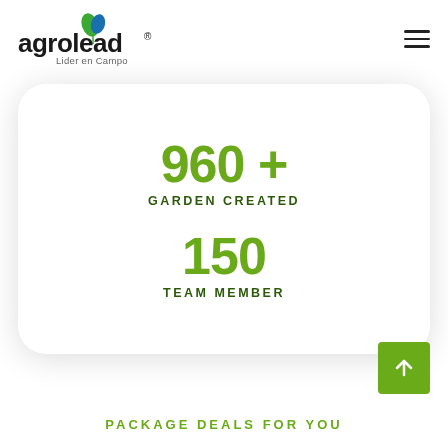[Figure (logo): Agrolead logo with leaf icon and tagline 'Lider en Campo']
960 +
GARDEN CREATED
150
TEAM MEMBER
[Figure (other): Green square button with upward arrow]
PACKAGE DEALS FOR YOU